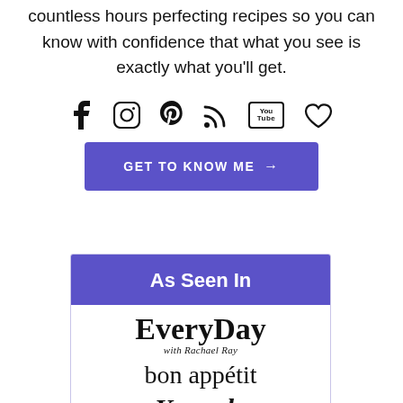countless hours perfecting recipes so you can know with confidence that what you see is exactly what you'll get.
[Figure (other): Row of social media icons: Facebook, Instagram, Pinterest, RSS feed, YouTube, and a heart/favorites icon]
GET TO KNOW ME →
As Seen In
[Figure (logo): EveryDay with Rachael Ray logo]
[Figure (logo): bon appétit logo]
[Figure (logo): Yummly logo (partially visible)]